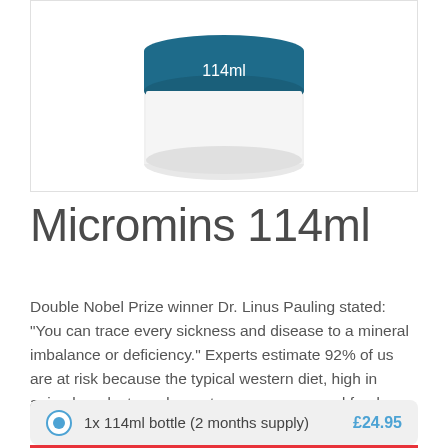[Figure (photo): A white cylindrical container/jar with a dark teal/blue lid labeled '114ml' in white text]
Micromins 114ml
Double Nobel Prize winner Dr. Linus Pauling stated: "You can trace every sickness and disease to a mineral imbalance or deficiency." Experts estimate 92% of us are at risk because the typical western diet, high in animal products and sweet, sugary processed foods, makes our blood extremely acidic. Research confirms diseases thrive in acidic conditions. All minerals are alkaline by nature ... View Product
1x 114ml bottle (2 months supply) £24.95